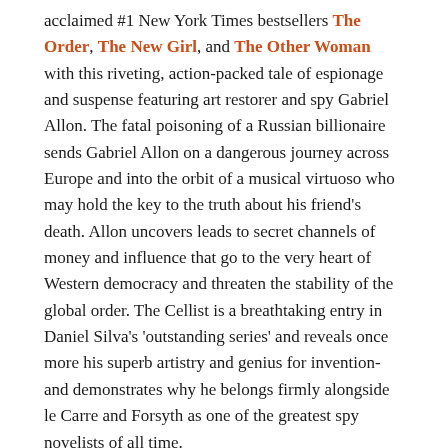acclaimed #1 New York Times bestsellers The Order, The New Girl, and The Other Woman with this riveting, action-packed tale of espionage and suspense featuring art restorer and spy Gabriel Allon. The fatal poisoning of a Russian billionaire sends Gabriel Allon on a dangerous journey across Europe and into the orbit of a musical virtuoso who may hold the key to the truth about his friend's death. Allon uncovers leads to secret channels of money and influence that go to the very heart of Western democracy and threaten the stability of the global order. The Cellist is a breathtaking entry in Daniel Silva's 'outstanding series' and reveals once more his superb artistry and genius for invention-and demonstrates why he belongs firmly alongside le Carre and Forsyth as one of the greatest spy novelists of all time.
You can buy the ebook version here.